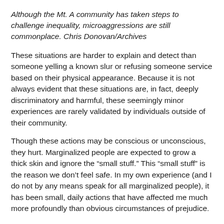Although the Mt. A community has taken steps to challenge inequality, microaggressions are still commonplace. Chris Donovan/Archives
These situations are harder to explain and detect than someone yelling a known slur or refusing someone service based on their physical appearance. Because it is not always evident that these situations are, in fact, deeply discriminatory and harmful, these seemingly minor experiences are rarely validated by individuals outside of their community.
Though these actions may be conscious or unconscious, they hurt. Marginalized people are expected to grow a thick skin and ignore the “small stuff.” This “small stuff” is the reason we don’t feel safe. In my own experience (and I do not by any means speak for all marginalized people), it has been small, daily actions that have affected me much more profoundly than obvious circumstances of prejudice.